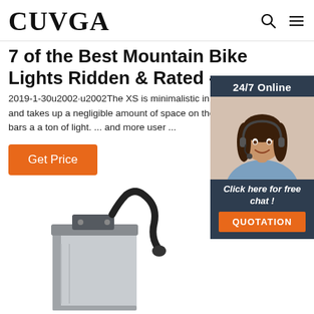CUVGA
7 of the Best Mountain Bike Lights Ridden & Rated -
2019-1-30u2002·u2002The XS is minimalistic in and takes up a negligible amount of space on the bars a a ton of light. ... and more user ...
Get Price
[Figure (photo): Customer service representative woman with headset smiling, shown in a dark-background sidebar widget with 24/7 Online label and Click here for free chat / QUOTATION button]
[Figure (photo): Product photo of a rectangular silver/aluminum LED light unit with black cable connector on top, shown partially at bottom of page]